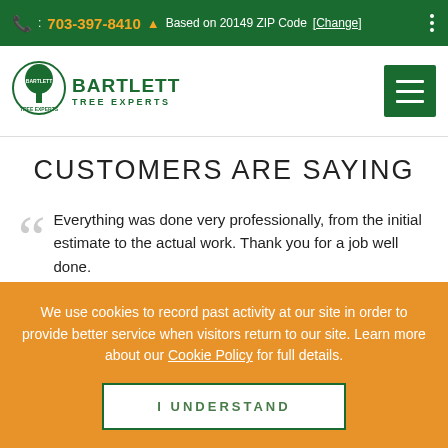: 703-397-8410  Based on 20149 ZIP Code [Change]
[Figure (logo): Bartlett Tree Experts logo with tree balloon icon]
CUSTOMERS ARE SAYING
Everything was done very professionally, from the initial estimate to the actual work. Thank you for a job well done.
Carol A.
We use cookies to record past activity at our site in order to provide better service when visitors return to our site. Learn more about our Cookie Policy for full details.
I UNDERSTAND